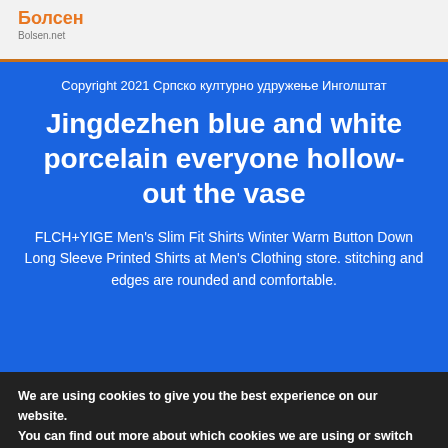Болсен
Bolsen.net
Copyright 2021 Српско културно удружење Инголштат
Jingdezhen blue and white porcelain everyone hollow-out the vase
FLCH+YIGE Men's Slim Fit Shirts Winter Warm Button Down Long Sleeve Printed Shirts at Men's Clothing store. stitching and edges are rounded and comfortable.
We are using cookies to give you the best experience on our website.
You can find out more about which cookies we are using or switch them off in settings.
Accept